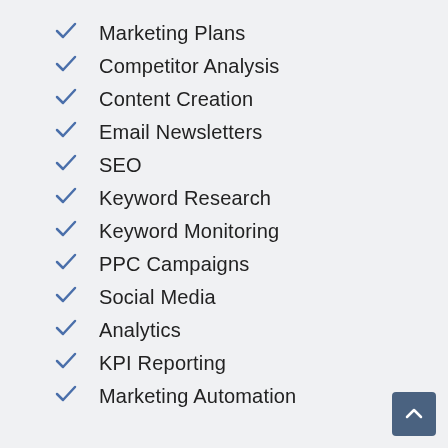Marketing Plans
Competitor Analysis
Content Creation
Email Newsletters
SEO
Keyword Research
Keyword Monitoring
PPC Campaigns
Social Media
Analytics
KPI Reporting
Marketing Automation